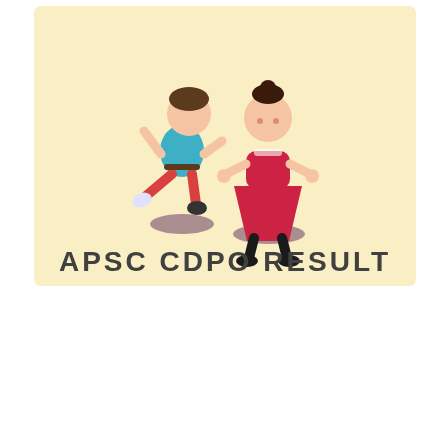[Figure (illustration): A light yellow/cream colored banner image showing two cartoon children — a boy in a teal shirt and red pants jumping/kicking, and a girl in a red dress with outstretched arms — with the bold dark gray text 'APSC CDPO RESULT' below them. Both children stand on dark oval shadow spots.]